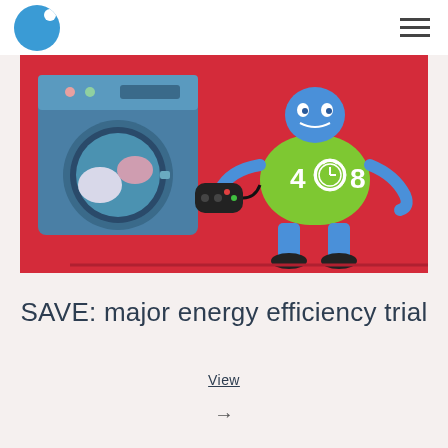[Figure (illustration): Colorful cartoon illustration on a red background showing a washing machine on the left and a cartoon robot character wearing a green shirt with '4 to 8' logo, holding a game controller.]
SAVE: major energy efficiency trial
View
→